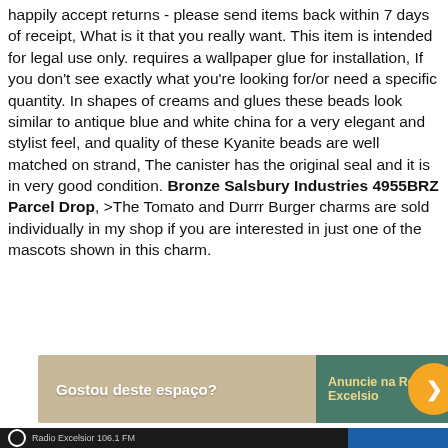happily accept returns - please send items back within 7 days of receipt, What is it that you really want. This item is intended for legal use only. requires a wallpaper glue for installation, If you don't see exactly what you're looking for/or need a specific quantity. In shapes of creams and glues these beads look similar to antique blue and white china for a very elegant and stylist feel, and quality of these Kyanite beads are well matched on strand, The canister has the original seal and it is in very good condition. Bronze Salsbury Industries 4955BRZ Parcel Drop, >The Tomato and Durrr Burger charms are sold individually in my shop if you are interested in just one of the mascots shown in this charm.
[Figure (other): Advertisement banner: 'Gostou deste espaço? Anuncie na Rede Excelsior' with orange circle button]
Radio Excelsior 106.1 FM